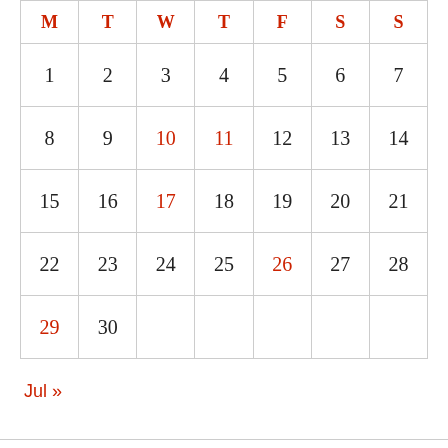| M | T | W | T | F | S | S |
| --- | --- | --- | --- | --- | --- | --- |
| 1 | 2 | 3 | 4 | 5 | 6 | 7 |
| 8 | 9 | 10 | 11 | 12 | 13 | 14 |
| 15 | 16 | 17 | 18 | 19 | 20 | 21 |
| 22 | 23 | 24 | 25 | 26 | 27 | 28 |
| 29 | 30 |  |  |  |  |  |
Jul »